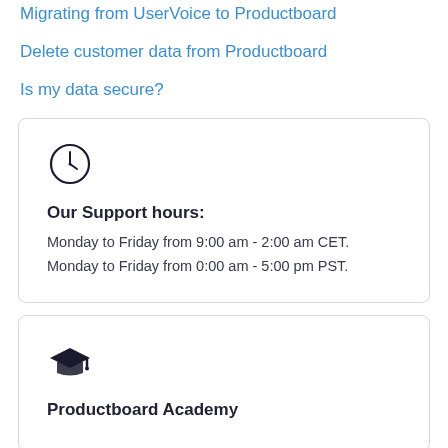Migrating from UserVoice to Productboard
Delete customer data from Productboard
Is my data secure?
[Figure (illustration): Card with clock icon, bold heading 'Our Support hours:', and two lines of support schedule text]
Our Support hours:
Monday to Friday from 9:00 am - 2:00 am CET.
Monday to Friday from 0:00 am - 5:00 pm PST.
[Figure (illustration): Card with graduation cap icon and bold heading 'Productboard Academy']